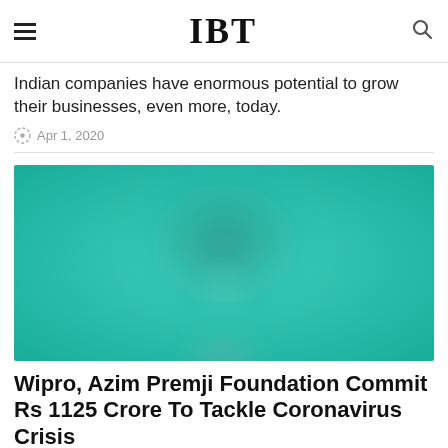IBT
Indian companies have enormous potential to grow their businesses, even more, today.
Apr 1, 2020
[Figure (photo): Blurred teal/green abstract background image, appears to show a person or figure in a green-toned environment]
Wipro, Azim Premji Foundation Commit Rs 1125 Crore To Tackle Coronavirus Crisis